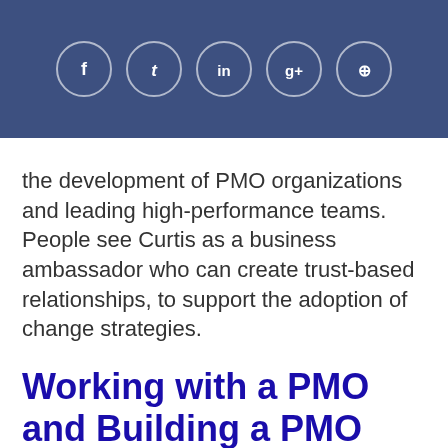[Figure (other): Social media sharing icons bar with Facebook, Twitter, LinkedIn, Google+, and Pinterest icons in circles on a dark blue background]
the development of PMO organizations and leading high-performance teams. People see Curtis as a business ambassador who can create trust-based relationships, to support the adoption of change strategies.
Working with a PMO and Building a PMO Career
We discuss: